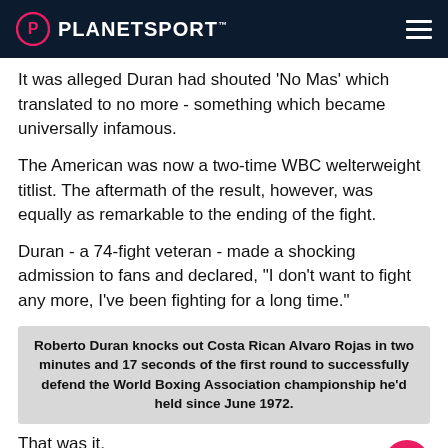PLANETSPORT
It was alleged Duran had shouted 'No Mas' which translated to no more - something which became universally infamous.
The American was now a two-time WBC welterweight titlist. The aftermath of the result, however, was equally as remarkable to the ending of the fight.
Duran - a 74-fight veteran - made a shocking admission to fans and declared, "I don't want to fight any more, I've been fighting for a long time."
Roberto Duran knocks out Costa Rican Alvaro Rojas in two minutes and 17 seconds of the first round to successfully defend the World Boxing Association championship he'd held since June 1972.
That was it.